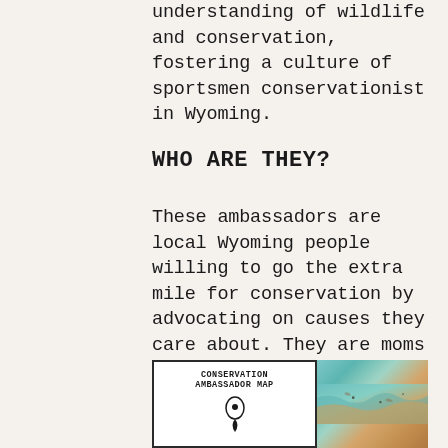understanding of wildlife and conservation, fostering a culture of sportsmen conservationist in Wyoming.
WHO ARE THEY?
These ambassadors are local Wyoming people willing to go the extra mile for conservation by advocating on causes they care about. They are moms and dads, electricians and real estate agents, Wyoming natives and recent locals who all love Wyoming's wildlife and wild places and want to advocate on their behalf.
[Figure (map): Conservation Ambassador Map card alongside a photo of a wildlife/landscape map showing terrain in teal and brown tones]